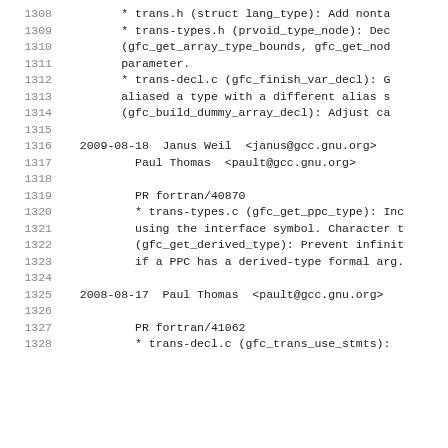1308    * trans.h (struct lang_type): Add nonta
1309    * trans-types.h (prvoid_type_node): Dec
1310    (gfc_get_array_type_bounds, gfc_get_nod
1311    parameter.
1312    * trans-decl.c (gfc_finish_var_decl): G
1313    aliased a type with a different alias s
1314    (gfc_build_dummy_array_decl): Adjust ca
1315
1316  2009-08-18  Janus Weil  <janus@gcc.gnu.org>
1317          Paul Thomas  <pault@gcc.gnu.org>
1318
1319          PR fortran/40870
1320          * trans-types.c (gfc_get_ppc_type): Inc
1321          using the interface symbol. Character t
1322          (gfc_get_derived_type): Prevent infinit
1323          if a PPC has a derived-type formal arg.
1324
1325  2008-08-17  Paul Thomas  <pault@gcc.gnu.org>
1326
1327          PR fortran/41062
1328          * trans-decl.c (gfc_trans_use_stmts):